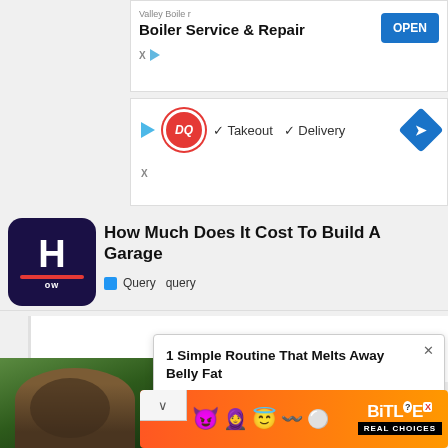[Figure (screenshot): Valley Boiler ad banner with 'Boiler Service & Repair' text and blue OPEN button]
[Figure (screenshot): Dairy Queen ad banner with DQ logo, checkmarks for Takeout and Delivery]
[Figure (logo): How.com logo - dark blue rounded square with white H and red underline]
How Much Does It Cost To Build A Garage
Query  query
[Figure (photo): Person holding food bowl, partial view]
1 Simple Routine That Melts Away Belly Fat
Health Gut Boost | Sponsored
[Figure (screenshot): BitLife Real Choices bottom advertisement banner with colorful emojis]